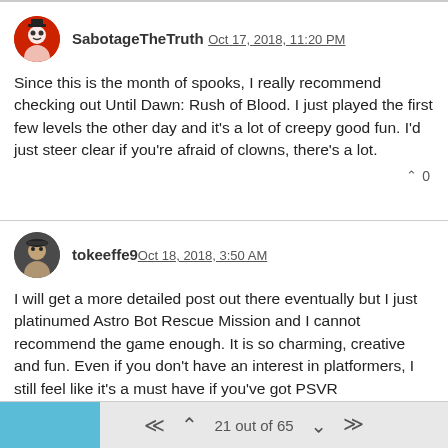SabotageTheTruth Oct 17, 2018, 11:20 PM
Since this is the month of spooks, I really recommend checking out Until Dawn: Rush of Blood. I just played the first few levels the other day and it's a lot of creepy good fun. I'd just steer clear if you're afraid of clowns, there's a lot.
0
tokeeffe9 Oct 18, 2018, 3:50 AM
I will get a more detailed post out there eventually but I just platinumed Astro Bot Rescue Mission and I cannot recommend the game enough. It is so charming, creative and fun. Even if you don't have an interest in platformers, I still feel like it's a must have if you've got PSVR
1
21 out of 65